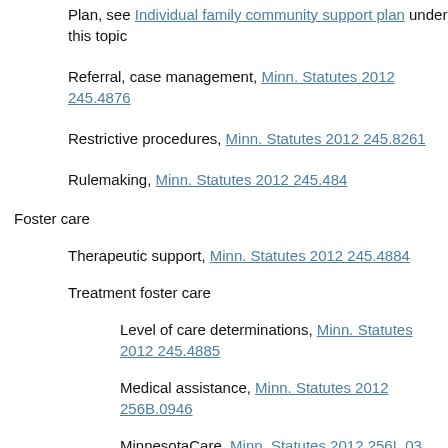Plan, see Individual family community support plan under this topic
Referral, case management, Minn. Statutes 2012 245.4876
Restrictive procedures, Minn. Statutes 2012 245.8261
Rulemaking, Minn. Statutes 2012 245.484
Foster care
Therapeutic support, Minn. Statutes 2012 245.4884
Treatment foster care
Level of care determinations, Minn. Statutes 2012 245.4885
Medical assistance, Minn. Statutes 2012 256B.0946
MinnesotaCare, Minn. Statutes 2012 256L.03
Rights of child, Minn. Statutes 2012 260D.04, 2012